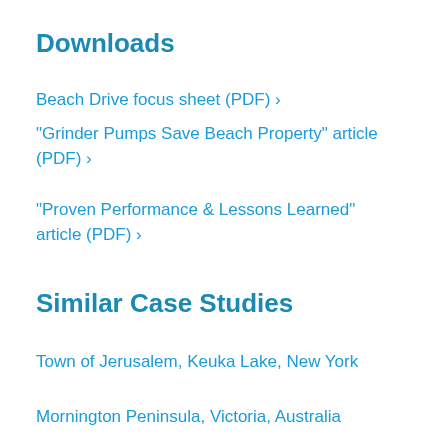Downloads
Beach Drive focus sheet (PDF) ›
"Grinder Pumps Save Beach Property" article (PDF) ›
"Proven Performance & Lessons Learned" article (PDF) ›
Similar Case Studies
Town of Jerusalem, Keuka Lake, New York
Mornington Peninsula, Victoria, Australia